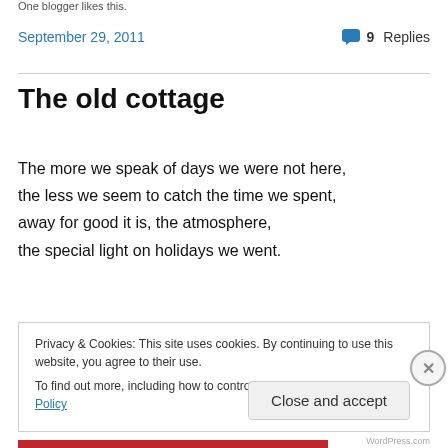One blogger likes this.
September 29, 2011   💬 9 Replies
The old cottage
The more we speak of days we were not here,
the less we seem to catch the time we spent,
away for good it is, the atmosphere,
the special light on holidays we went.
Privacy & Cookies: This site uses cookies. By continuing to use this website, you agree to their use.
To find out more, including how to control cookies, see here: Cookie Policy